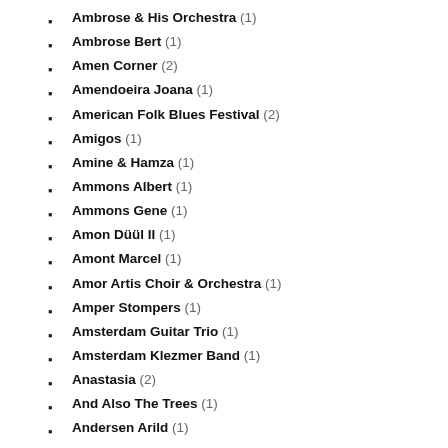Ambrose & His Orchestra (1)
Ambrose Bert (1)
Amen Corner (2)
Amendoeira Joana (1)
American Folk Blues Festival (2)
Amigos (1)
Amine & Hamza (1)
Ammons Albert (1)
Ammons Gene (1)
Amon Düül II (1)
Amont Marcel (1)
Amor Artis Choir & Orchestra (1)
Amper Stompers (1)
Amsterdam Guitar Trio (1)
Amsterdam Klezmer Band (1)
Anastasia (2)
And Also The Trees (1)
Andersen Arild (1)
Anderson Erestine (1)
Anderson Ernestine (1)
Anderson Fred (1)